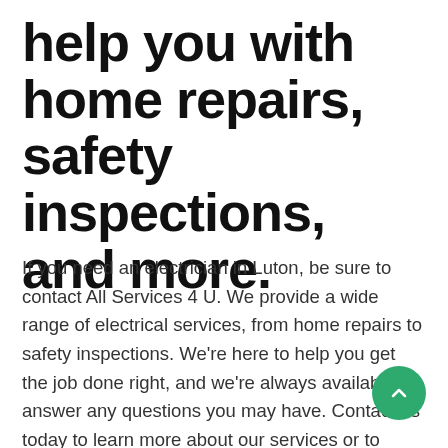help you with home repairs, safety inspections, and more.
If you need an electrician in Luton, be sure to contact All Services 4 U. We provide a wide range of electrical services, from home repairs to safety inspections. We're here to help you get the job done right, and we're always available to answer any questions you may have. Contact us today to learn more about our services or to schedule a consultation. Welcome to All Services 4 U, your local electrician in Luton. We offer a wide range of electrical services to meet your needs, whether you're looking for a simple repair or a complete rewiring. Our experienced team is here to help, so please don't hesitate to contact us for all your